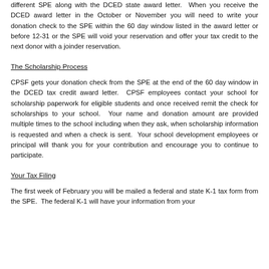different SPE along with the DCED state award letter. When you receive the DCED award letter in the October or November you will need to write your donation check to the SPE within the 60 day window listed in the award letter or before 12-31 or the SPE will void your reservation and offer your tax credit to the next donor with a joinder reservation.
The Scholarship Process
CPSF gets your donation check from the SPE at the end of the 60 day window in the DCED tax credit award letter. CPSF employees contact your school for scholarship paperwork for eligible students and once received remit the check for scholarships to your school. Your name and donation amount are provided multiple times to the school including when they ask, when scholarship information is requested and when a check is sent. Your school development employees or principal will thank you for your contribution and encourage you to continue to participate.
Your Tax Filing
The first week of February you will be mailed a federal and state K-1 tax form from the SPE. The federal K-1 will have your information from your